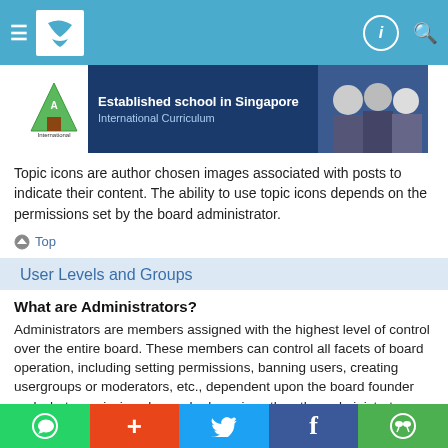Navigation bar with hamburger menu, logo, info icon, and search icon
[Figure (infographic): Advertisement banner: Established school in Singapore, International Curriculum, with green triangle logo and photo of students]
Topic icons are author chosen images associated with posts to indicate their content. The ability to use topic icons depends on the permissions set by the board administrator.
Top
User Levels and Groups
What are Administrators?
Administrators are members assigned with the highest level of control over the entire board. These members can control all facets of board operation, including setting permissions, banning users, creating usergroups or moderators, etc., dependent upon the board founder and what permissions he or she has given the other administrators. They may also have full moderator capabilities in all forums, depending on the settings put forth by
Social sharing bar: WhatsApp, Plus, Twitter, Facebook, WeChat